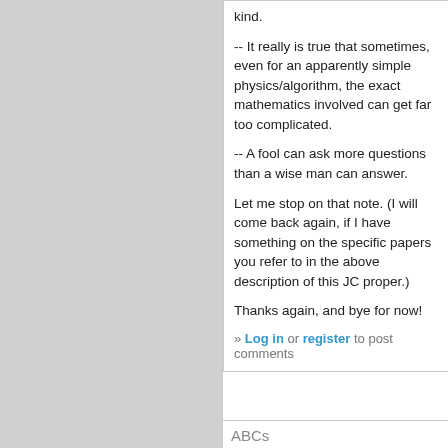kind.
-- It really is true that sometimes, even for an apparently simple physics/algorithm, the exact mathematics involved can get far too complicated.
-- A fool can ask more questions than a wise man can answer.
Let me stop on that note. (I will come back again, if I have something on the specific papers you refer to in the above description of this JC proper.)
Thanks again, and bye for now!
» Log in or register to post comments
ABCs